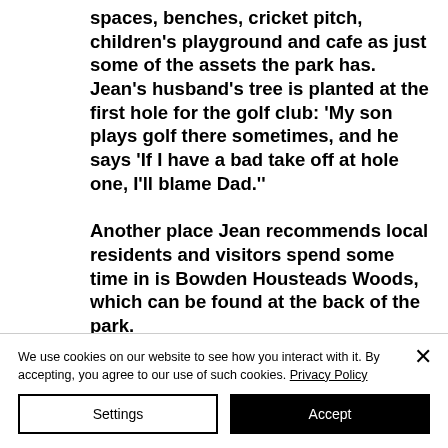spaces, benches, cricket pitch, children's playground and cafe as just some of the assets the park has. Jean's husband's tree is planted at the first hole for the golf club: 'My son plays golf there sometimes, and he says 'If I have a bad take off at hole one, I'll blame Dad.''
Another place Jean recommends local residents and visitors spend some time in is Bowden Housteads Woods, which can be found at the back of the park.
We use cookies on our website to see how you interact with it. By accepting, you agree to our use of such cookies. Privacy Policy
Settings
Accept